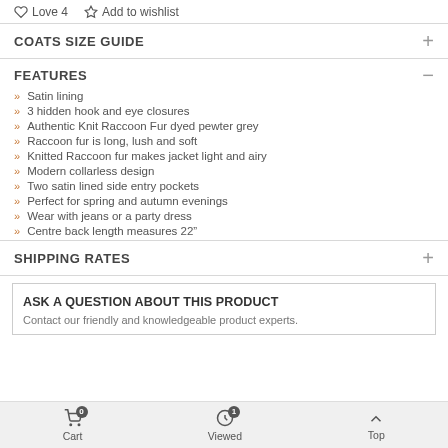Love 4   Add to wishlist
COATS SIZE GUIDE
FEATURES
Satin lining
3 hidden hook and eye closures
Authentic Knit Raccoon Fur dyed pewter grey
Raccoon fur is long, lush and soft
Knitted Raccoon fur makes jacket light and airy
Modern collarless design
Two satin lined side entry pockets
Perfect for spring and autumn evenings
Wear with jeans or a party dress
Centre back length measures 22"
SHIPPING RATES
ASK A QUESTION ABOUT THIS PRODUCT
Contact our friendly and knowledgeable product experts.
Cart   Viewed 1   Top